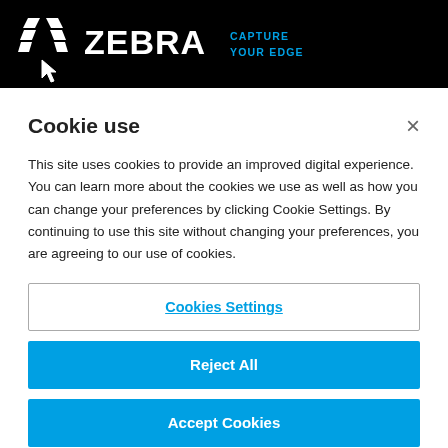[Figure (logo): Zebra Technologies logo with zebra stripe icon, white 'ZEBRA' text, and blue 'CAPTURE YOUR EDGE' tagline on black background]
Cookie use
This site uses cookies to provide an improved digital experience. You can learn more about the cookies we use as well as how you can change your preferences by clicking Cookie Settings. By continuing to use this site without changing your preferences, you are agreeing to our use of cookies.
Cookies Settings
Reject All
Accept Cookies